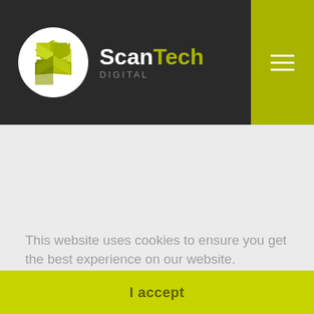[Figure (logo): ScanTech Digital logo with white S-shaped 3D cube icon in a white circle on dark background, with 'ScanTech' text (Scan in white, Tech in yellow-green) and 'DIGITAL' in grey below]
This website uses cookies to ensure you get the best experience on our website.
Privacy Policy
I accept